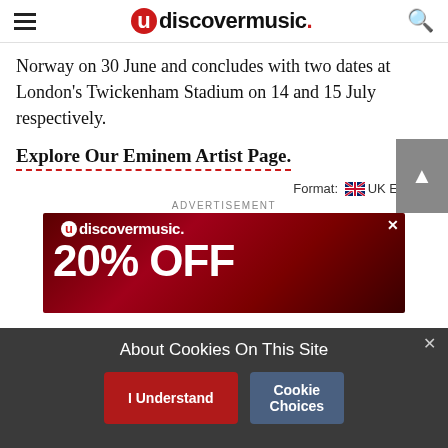udiscovermusic.
Norway on 30 June and concludes with two dates at London's Twickenham Stadium on 14 and 15 July respectively.
Explore Our Eminem Artist Page.
Format: UK English
ADVERTISEMENT
[Figure (screenshot): udiscovermusic advertisement banner showing '20% OFF' in bold white text on a dark red background]
About Cookies On This Site
I Understand | Cookie Choices